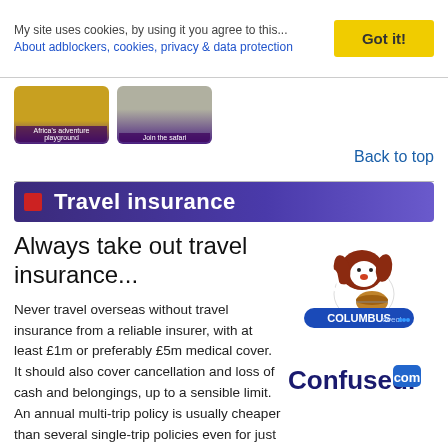My site uses cookies, by using it you agree to this... About adblockers, cookies, privacy & data protection
[Figure (photo): Two thumbnail images: 'Africa's adventure playground' and 'Join the safari']
Back to top
Travel insurance
Always take out travel insurance...
Never travel overseas without travel insurance from a reliable insurer, with at least £1m or preferably £5m medical cover.  It should also cover cancellation and loss of cash and belongings, up to a sensible limit.  An annual multi-trip policy is usually cheaper than several single-trip policies even for just 2 or 3 trips a year, I have an annual policy myself.  Here are some suggested insurers.  Seat61 gets a small commission if you buy
[Figure (logo): Columbus Direct insurance logo with cartoon dog mascot giving thumbs up]
[Figure (logo): Confused.com logo]